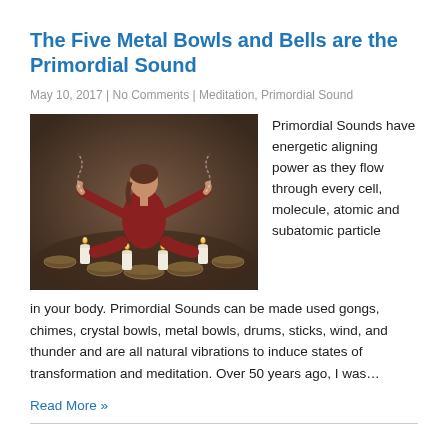The Five Metal Bowls and Bells are the Primordial Sound
May 10, 2017 | No Comments | Meditation, Primordial Sound
[Figure (photo): Woman in red clothing sitting cross-legged surrounded by singing bowls and candles, playing the bowls with arms outstretched]
Primordial Sounds have energetic aligning power as they flow through every cell, molecule, atomic and subatomic particle in your body. Primordial Sounds can be made used gongs, chimes, crystal bowls, metal bowls, drums, sticks, wind, and thunder and are all natural vibrations to induce states of transformation and meditation. Over 50 years ago, I was…
Read More »